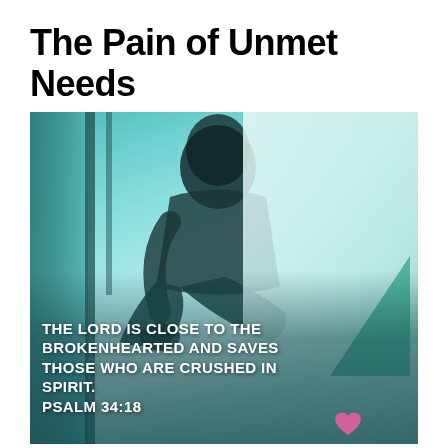The Pain of Unmet Needs
[Figure (photo): A teal-tinted photo of a young woman sitting by a window, viewed from behind, with her knees drawn up. Overlaid with a Bible verse in white bold uppercase text: 'THE LORD IS CLOSE TO THE BROKENHEARTED AND SAVES THOSE WHO ARE CRUSHED IN SPIRIT. PSALM 34:18'. A teal triangle and small heart decoration are visible in the lower portion.]